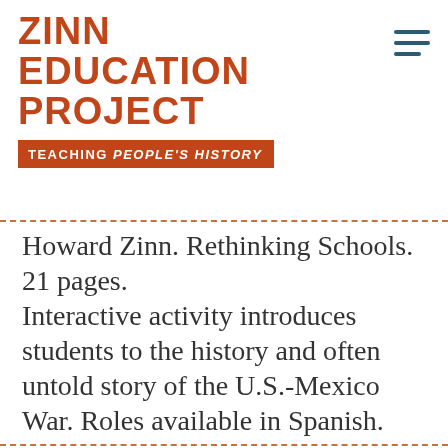ZINN EDUCATION PROJECT — TEACHING PEOPLE'S HISTORY
Howard Zinn. Rethinking Schools. 21 pages. Interactive activity introduces students to the history and often untold story of the U.S.-Mexico War. Roles available in Spanish.
Teaching Activity by Bill Bigelow
Continue reading